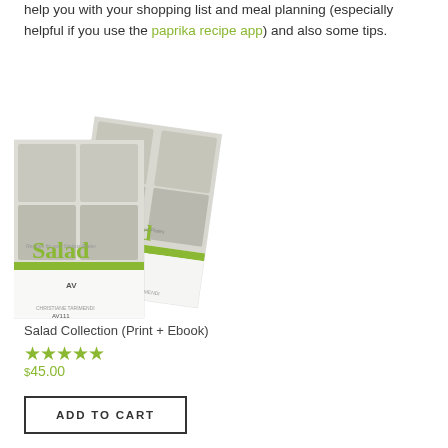help you with your shopping list and meal planning (especially helpful if you use the paprika recipe app) and also some tips.
[Figure (photo): Two overlapping copies of the 'Salad Collection' cookbook showing bowls of salad on the cover with green title text]
Salad Collection (Print + Ebook)
★★★★★ $45.00
ADD TO CART